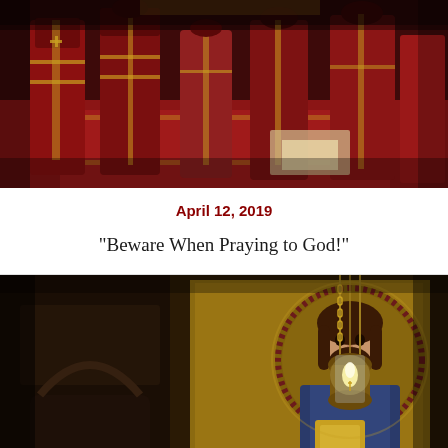[Figure (photo): Orthodox religious ceremony with priests in elaborate red and gold vestments standing in a church with red carpeting]
April 12, 2019
“Beware When Praying to God!”
[Figure (photo): Byzantine mosaic icon of Christ Pantocrator with a hanging oil lamp in the foreground, dark church interior]